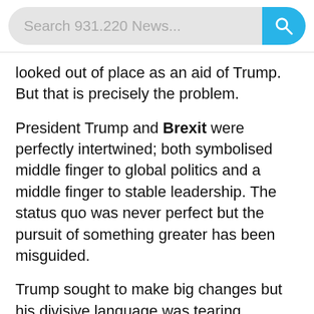[Figure (screenshot): Search bar UI element with text 'Search 931.220 News...' and a cyan/blue search button with magnifying glass icon]
looked out of place as an aid of Trump. But that is precisely the problem.
President Trump and Brexit were perfectly intertwined; both symbolised middle finger to global politics and a middle finger to stable leadership. The status quo was never perfect but the pursuit of something greater has been misguided.
Trump sought to make big changes but his divisive language was tearing America into separate groups. Brexit promised to reinstate Britain as a global superpower but the reality